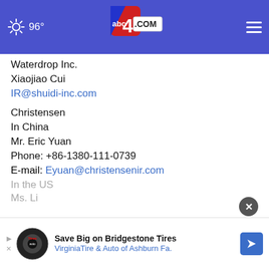abc4.com — 96°
Waterdrop Inc.
Xiaojiao Cui
IR@shuidi-inc.com
Christensen
In China
Mr. Eric Yuan
Phone: +86-1380-111-0739
E-mail: Eyuan@christensenir.com
In the US
Ms. Li
[Figure (screenshot): Advertisement banner: Save Big on Bridgestone Tires — VirginiaTire & Auto of Ashburn Fa.]